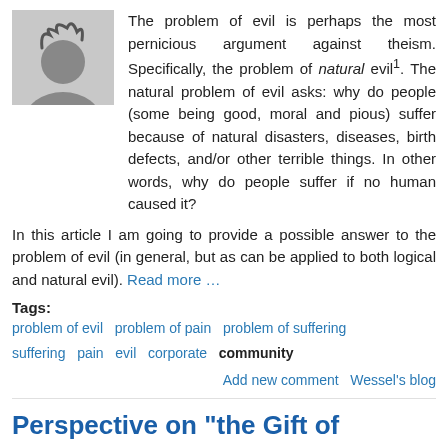[Figure (photo): Silhouette of a person's head and shoulders against a light gray background]
The problem of evil is perhaps the most pernicious argument against theism. Specifically, the problem of natural evil¹. The natural problem of evil asks: why do people (some being good, moral and pious) suffer because of natural disasters, diseases, birth defects, and/or other terrible things. In other words, why do people suffer if no human caused it?
In this article I am going to provide a possible answer to the problem of evil (in general, but as can be applied to both logical and natural evil). Read more …
Tags: problem of evil  problem of pain  problem of suffering  suffering  pain  evil  corporate  community
Add new comment  Wessel’s blog
Perspective on "the Gift of Singleness"
Submitted by Wessel on Wednesday, 18 May 2016 - 21:26